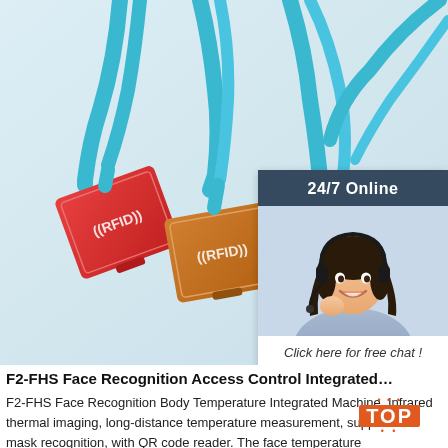[Figure (photo): Three RFID card badges (red, orange, blue) on blue lanyards against a white/light background. Top-right corner overlay shows a 24/7 online chat widget with a female customer service agent wearing a headset, a 'Click here for free chat!' message, and an orange QUOTATION button.]
F2-FHS Face Recognition Access Control Integrated…
F2-FHS Face Recognition Body Temperature Integrated Machine. Infrared thermal imaging, long-distance temperature measurement, support for mask recognition, with QR code reader. The face temperature measurement equipment adopts an 8-inch, full viewing angle, 170°IPS LCD screen, embedded deep learning face recognition algorithm, built-in…